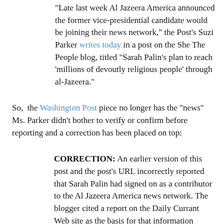"Late last week Al Jazeera America announced the former vice-presidential candidate would be joining their news network," the Post's Suzi Parker writes today in a post on the She The People blog, titled "Sarah Palin's plan to reach 'millions of devoutly religious people' through al-Jazeera."
So,  the Washington Post piece no longer has the "news" Ms. Parker didn't bother to verify or confirm before reporting and a correction has been placed on top:
CORRECTION: An earlier version of this post and the post's URL incorrectly reported that Sarah Palin had signed on as a contributor to the Al Jazeera America news network. The blogger cited a report on the Daily Currant Web site as the basis for that information without realizing that the piece was satirical.